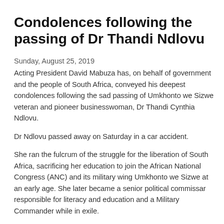Condolences following the passing of Dr Thandi Ndlovu
Sunday, August 25, 2019
Acting President David Mabuza has, on behalf of government and the people of South Africa, conveyed his deepest condolences following the sad passing of Umkhonto we Sizwe veteran and pioneer businesswoman, Dr Thandi Cynthia Ndlovu.
Dr Ndlovu passed away on Saturday in a car accident.
She ran the fulcrum of the struggle for the liberation of South Africa, sacrificing her education to join the African National Congress (ANC) and its military wing Umkhonto we Sizwe at an early age. She later became a senior political commissar responsible for literacy and education and a Military Commander while in exile.
Upon her return from exile, she ran a private medical practice